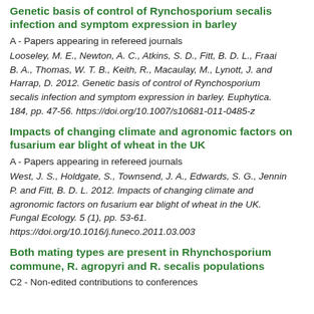Genetic basis of control of Rynchosporium secalis infection and symptom expression in barley
A - Papers appearing in refereed journals
Looseley, M. E., Newton, A. C., Atkins, S. D., Fitt, B. D. L., Fraaij, B. A., Thomas, W. T. B., Keith, R., Macaulay, M., Lynott, J. and Harrap, D. 2012. Genetic basis of control of Rynchosporium secalis infection and symptom expression in barley. Euphytica. 184, pp. 47-56. https://doi.org/10.1007/s10681-011-0485-z
Impacts of changing climate and agronomic factors on fusarium ear blight of wheat in the UK
A - Papers appearing in refereed journals
West, J. S., Holdgate, S., Townsend, J. A., Edwards, S. G., Jennin, P. and Fitt, B. D. L. 2012. Impacts of changing climate and agronomic factors on fusarium ear blight of wheat in the UK. Fungal Ecology. 5 (1), pp. 53-61. https://doi.org/10.1016/j.funeco.2011.03.003
Both mating types are present in Rhynchosporium commune, R. agropyri and R. secalis populations
C2 - Non-edited contributions to conferences